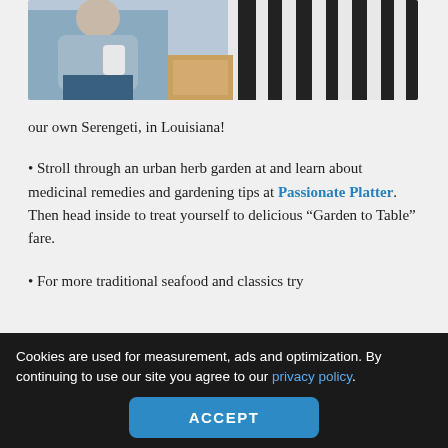[Figure (photo): Photo of a person in blue clothing holding a cup, seated near a zebra with black and white stripes visible in the background.]
our own Serengeti, in Louisiana!
Stroll through an urban herb garden at and learn about medicinal remedies and gardening tips at Passionate Platter. Then head inside to treat yourself to delicious “Garden to Table” fare.
For more traditional seafood and classics try
Cookies are used for measurement, ads and optimization. By continuing to use our site you agree to our privacy policy.